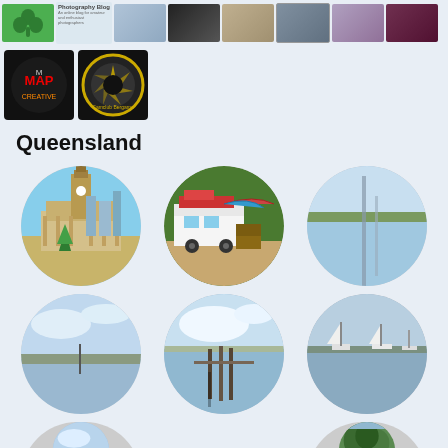[Figure (photo): Row of thumbnail profile photos and icons at top of page]
[Figure (photo): Two logos: MAP Creative logo (dark) and a yellow/black camera aperture logo]
Queensland
[Figure (photo): Six circular cropped photos arranged in 3-column grid showing Queensland scenes: Brisbane City Hall with clock tower and Christmas tree, a campervan/market stall, a waterway reflection, a coastal landscape with water and sky, a jetty/pier on calm water, sailboats on a bay]
[Figure (photo): Partial row of circular photos at bottom: sky/landscape, and a green tree/nature scene]